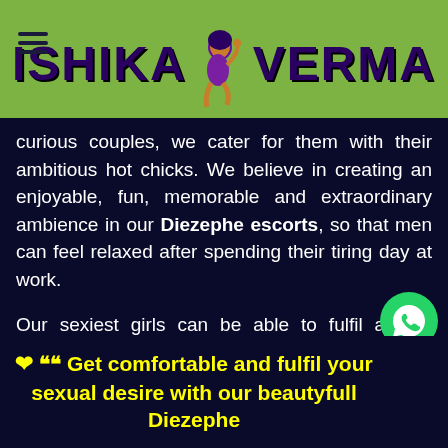[Figure (logo): Ishika Verma website header logo with green background, hamburger menu icon on left, stylized text 'ISHIKA VERMA' in dark purple with a seated woman figure between the words]
curious couples, we cater for them with their ambitious hot chicks. We believe in creating an enjoyable, fun, memorable and extraordinary ambience in our Diezephe escorts, so that men can feel relaxed after spending their tiring day at work.
Our sexiest girls can be able to fulfil all the pleasure you want to experience in your life. No matter whether you are a married or a single man, our Dlezephe escorts welcome you. And we are available for 24*7 hours a day. With our gorgeous ladies, you can experience heaven and can forget all stress and tensions in your life.
❤ ““  Get comfortable and fulfil your sexual desire with our beautyfull Diezephe